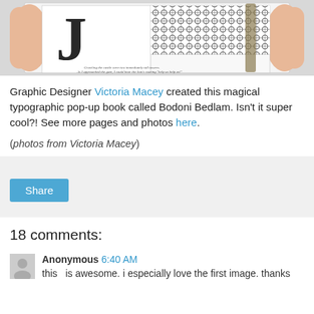[Figure (photo): Photo of hands holding an open typographic pop-up book called Bodoni Bedlam, showing large black letterforms and decorative patterned pages]
Graphic Designer Victoria Macey created this magical typographic pop-up book called Bodoni Bedlam. Isn't it super cool?! See more pages and photos here.
(photos from Victoria Macey)
Share
18 comments:
Anonymous 6:40 AM
this   is awesome. i especially love the first image. thanks